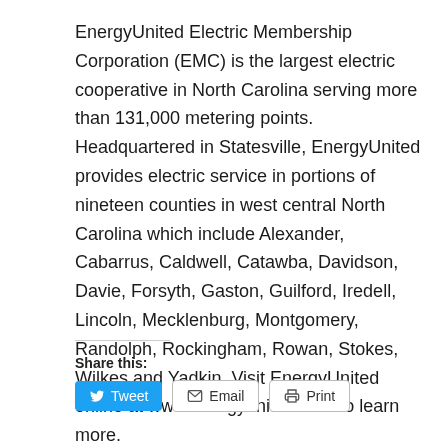EnergyUnited Electric Membership Corporation (EMC) is the largest electric cooperative in North Carolina serving more than 131,000 metering points. Headquartered in Statesville, EnergyUnited provides electric service in portions of nineteen counties in west central North Carolina which include Alexander, Cabarrus, Caldwell, Catawba, Davidson, Davie, Forsyth, Gaston, Guilford, Iredell, Lincoln, Mecklenburg, Montgomery, Randolph, Rockingham, Rowan, Stokes, Wilkes and Yadkin. Visit EnergyUnited online at www.energyunited.com to learn more.
Share this: